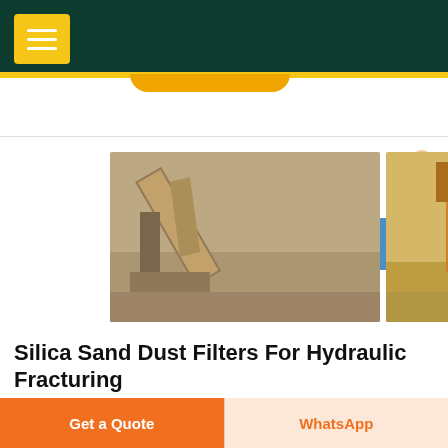Navigation header with menu button
[Figure (photo): Three industrial photos of silica sand processing / quarry mining equipment: conveyor belts, crushers, and open-air mining machinery]
Silica Sand Dust Filters For Hydraulic Fracturing
Filtering Silica Dust Improves Safety. Filtering silica
Get a Quote | WhatsApp